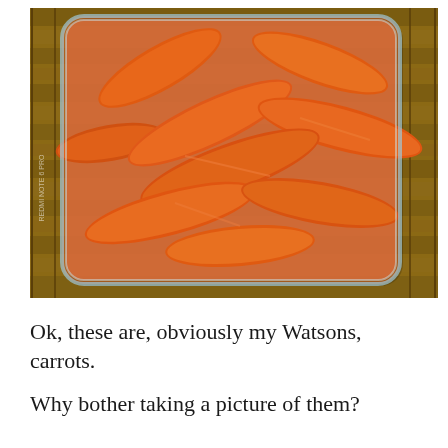[Figure (photo): A top-down photograph of peeled whole carrots soaking in water inside a clear rectangular glass or plastic container, placed on a wooden surface. A smartphone watermark 'REDMI NOTE 6 PRO' is visible on the left edge.]
Ok, these are, obviously my Watsons, carrots.
Why bother taking a picture of them?